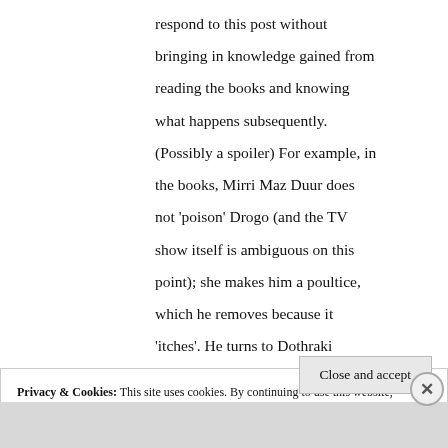respond to this post without bringing in knowledge gained from reading the books and knowing what happens subsequently. (Possibly a spoiler) For example, in the books, Mirri Maz Duur does not 'poison' Drogo (and the TV show itself is ambiguous on this point); she makes him a poultice, which he removes because it 'itches'. He turns to Dothraki remedies and the wound then
Privacy & Cookies: This site uses cookies. By continuing to use this website, you agree to their use.
To find out more, including how to control cookies, see here: Cookie Policy
Close and accept